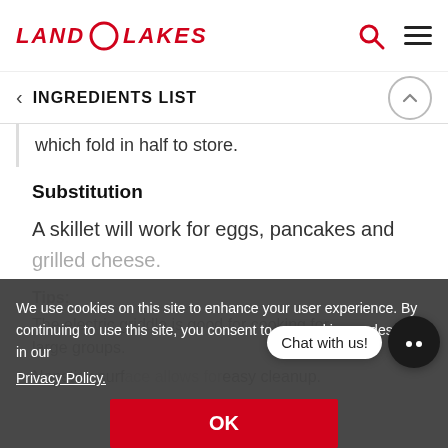LAND O LAKES
INGREDIENTS LIST
which fold in half to store.
Substitution
A skillet will work for eggs, pancakes and grilled cheese.
Tips
The electric griddle is good for cooking for large groups.
Nonstick surface allows for easy cleanup.
We use cookies on this site to enhance your user experience. By continuing to use this site, you consent to our cookies as described in our Privacy Policy.